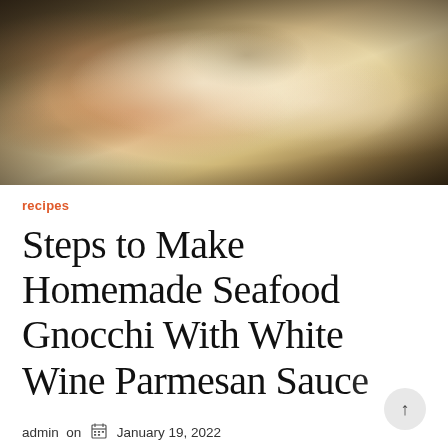[Figure (photo): A bowl of seafood gnocchi with white wine parmesan sauce, garnished with dried herbs, photographed from above in a dark bowl]
recipes
Steps to Make Homemade Seafood Gnocchi With White Wine Parmesan Sauce
admin on  January 19, 2022